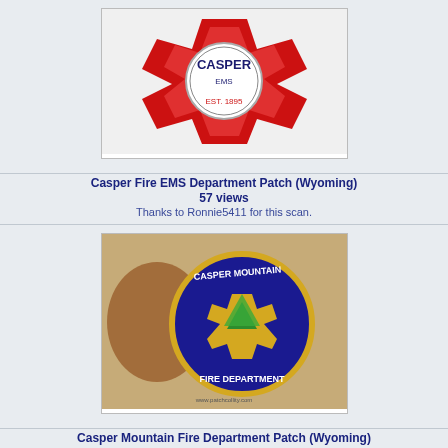[Figure (photo): Casper Fire EMS Department patch photo - red and white maltese cross design with 'CASPER EMS EST. 1895' text]
Casper Fire EMS Department Patch (Wyoming)
57 views
Thanks to Ronnie5411 for this scan.
[Figure (photo): Casper Mountain Fire Department patch - circular navy blue patch with yellow border and fire department emblem]
Casper Mountain Fire Department Patch (Wyoming)
116 views
Thanks to Jeremiah Herderich for the picture.
[Figure (photo): Centennial Valley Volunteer Fire Department patch - oval light blue patch with fire/EMS emblem]
Centennial Valley Volunteer Fire Department Patch (Wyoming)
116 views
Thanks to Jeremiah Herderich for the picture.
[Figure (photo): Partially visible patch photo at bottom of page]